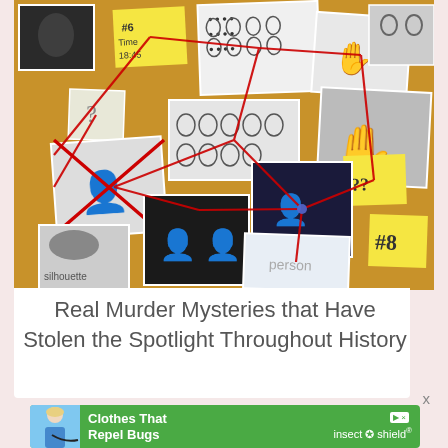[Figure (photo): A detective crime board covered in cork board material with black and white photographs, fingerprint images, sticky notes with '#6 Time 18:45' and '??' and '#8' written on them, red string connecting the items, and various crime scene photos including silhouettes of people, handprints, and fingerprints.]
Real Murder Mysteries that Have Stolen the Spotlight Throughout History
[Figure (infographic): Advertisement banner showing a woman in a blue shirt with an arrow pointing to her, on a green background, advertising 'Clothes That Repel Bugs' by insect shield brand, with a 'D X' badge in the top right corner.]